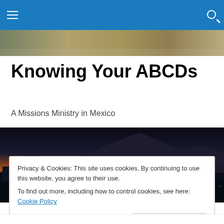Navigation bar with hamburger menu and search icon
[Figure (photo): Partial hero image strip at top showing textured/natural surface]
Knowing Your ABCDs
A Missions Ministry in Mexico
[Figure (photo): Panoramic night cityscape with mountain silhouette against orange/red sunset sky, city lights visible]
Privacy & Cookies: This site uses cookies. By continuing to use this website, you agree to their use.
To find out more, including how to control cookies, see here: Cookie Policy
[Close and accept button]